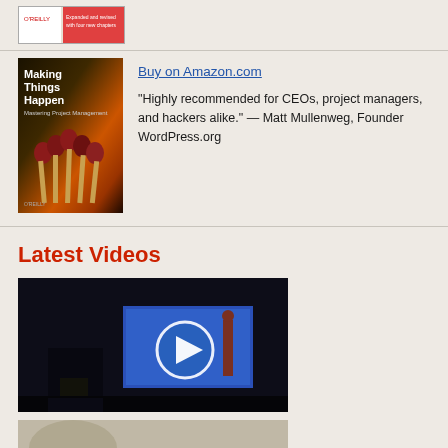[Figure (photo): Top partial book cover thumbnail, O'Reilly book]
[Figure (photo): Book cover: Making Things Happen - Mastering Project Management, O'Reilly, showing matchsticks]
Buy on Amazon.com
“Highly recommended for CEOs, project managers, and hackers alike.” — Matt Mullenweg, Founder WordPress.org
Latest Videos
[Figure (screenshot): Video thumbnail showing a presenter on a dark stage with a blue projection screen displaying a play button overlay]